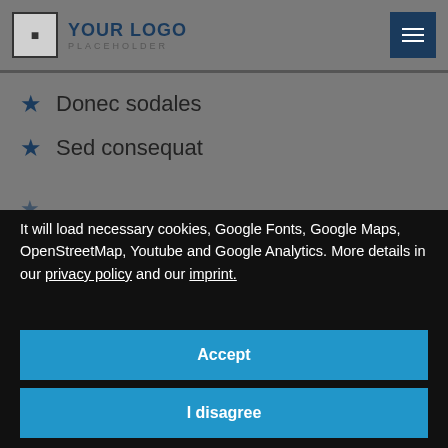YOUR LOGO PLACEHOLDER
Donec sodales
Sed consequat
It will load necessary cookies, Google Fonts, Google Maps, OpenStreetMap, Youtube and Google Analytics. More details in our privacy policy and our imprint.
Accept
I disagree